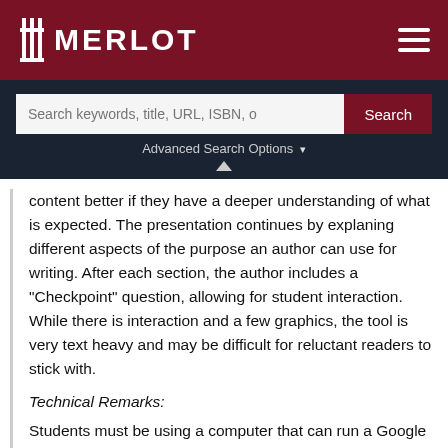MERLOT
content better if they have a deeper understanding of what is expected. The presentation continues by explaning different aspects of the purpose an author can use for writing. After each section, the author includes a "Checkpoint" question, allowing for student interaction. While there is interaction and a few graphics, the tool is very text heavy and may be difficult for reluctant readers to stick with.
Technical Remarks:
Students must be using a computer that can run a Google Drive Presentation.
Time spent reviewing site: 10 minutes